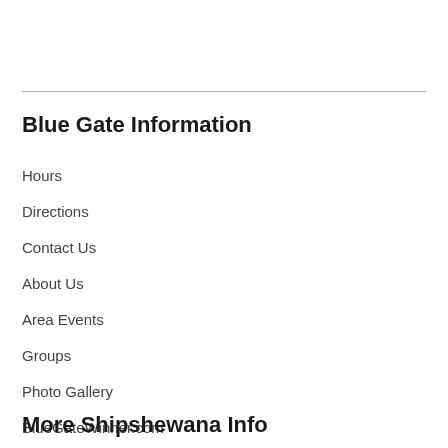Blue Gate Information
Hours
Directions
Contact Us
About Us
Area Events
Groups
Photo Gallery
BlueGateWinner.com
More Shipshewana Info